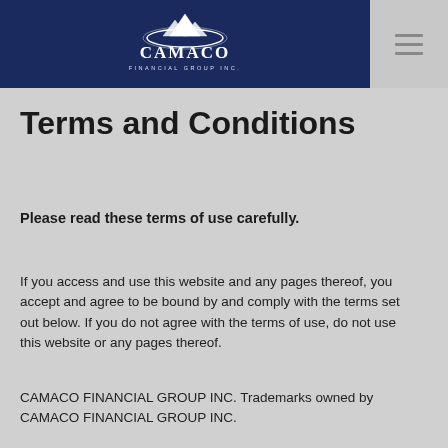[Figure (logo): CAMACO Financial Group Inc. logo with mountain/peaks graphic above the text CAMACO in white serif font on dark navy background]
Terms and Conditions
Please read these terms of use carefully.
If you access and use this website and any pages thereof, you accept and agree to be bound by and comply with the terms set out below. If you do not agree with the terms of use, do not use this website or any pages thereof.
CAMACO FINANCIAL GROUP INC. Trademarks owned by CAMACO FINANCIAL GROUP INC.